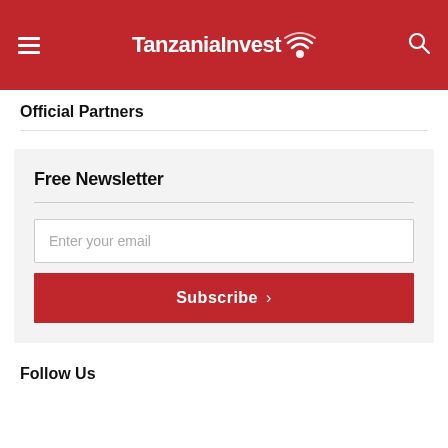TanzaniaInvest
Official Partners
Free Newsletter
Enter your email
Subscribe
Follow Us